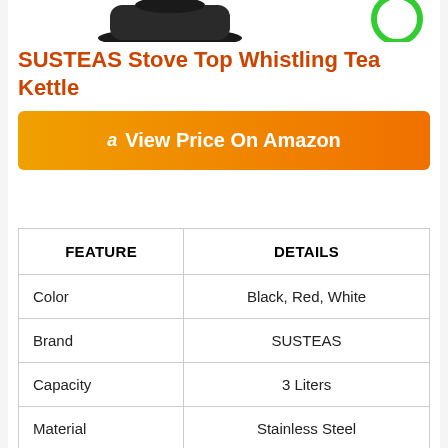[Figure (photo): Partial view of a stove top tea kettle (black) and a green circle badge, cropped at top of page]
SUSTEAS Stove Top Whistling Tea Kettle
[Figure (other): Orange gradient button with Amazon logo 'a' and text 'View Price On Amazon']
| FEATURE | DETAILS |
| --- | --- |
| Color | Black, Red, White |
| Brand | SUSTEAS |
| Capacity | 3 Liters |
| Material | Stainless Steel |
| Indicators | Whistling |